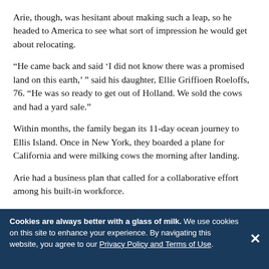Arie, though, was hesitant about making such a leap, so he headed to America to see what sort of impression he would get about relocating.
“He came back and said ‘I did not know there was a promised land on this earth,’ ” said his daughter, Ellie Griffioen Roeloffs, 76. “He was so ready to get out of Holland. We sold the cows and had a yard sale.”
Within months, the family began its 11-day ocean journey to Ellis Island. Once in New York, they boarded a plane for California and were milking cows the morning after landing.
Arie had a business plan that called for a collaborative effort among his built-in workforce.
“He said to the seven boys ‘you have to promise me you’ll stick together until we save enough money to buy our own
Cookies are always better with a glass of milk. We use cookies on this site to enhance your experience. By navigating this website, you agree to our Privacy Policy and Terms of Use.